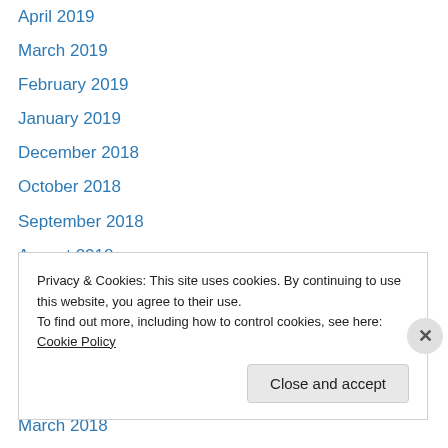April 2019
March 2019
February 2019
January 2019
December 2018
October 2018
September 2018
August 2018
July 2018
June 2018
May 2018
April 2018
March 2018
February 2018
Privacy & Cookies: This site uses cookies. By continuing to use this website, you agree to their use. To find out more, including how to control cookies, see here: Cookie Policy
Close and accept